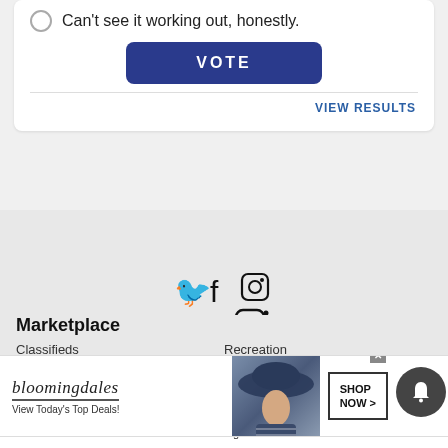Can't see it working out, honestly.
VOTE
VIEW RESULTS
[Figure (infographic): Social media icons: Twitter bird, Facebook f, Instagram camera outline]
Marketplace
Classifieds
Recreation
Jobs
Merchandise
Real Esta[te]
Rentals
[Figure (infographic): Bloomingdale's advertisement banner: logo text 'bloomingdales', tagline 'View Today's Top Deals!', image of woman with large hat, 'SHOP NOW >' button]
Home   Trending   Sections